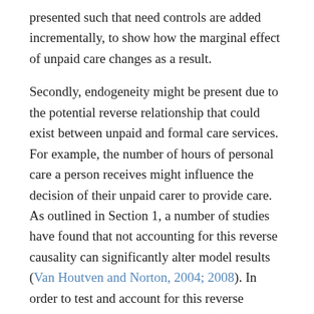presented such that need controls are added incrementally, to show how the marginal effect of unpaid care changes as a result.
Secondly, endogeneity might be present due to the potential reverse relationship that could exist between unpaid and formal care services. For example, the number of hours of personal care a person receives might influence the decision of their unpaid carer to provide care. As outlined in Section 1, a number of studies have found that not accounting for this reverse causality can significantly alter model results (Van Houtven and Norton, 2004; 2008). In order to test and account for this reverse causation, instrumental variables (IV) methods can be used. Of the literature